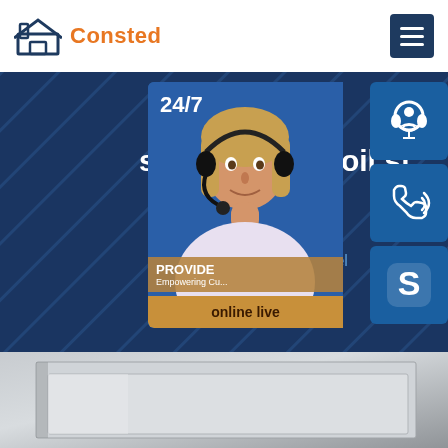Consted
sae 107steel coil st bengal
Home » AH36 steel
[Figure (infographic): Customer service panel showing a 24/7 support representative photo with headset, icons for headset support, phone, and Skype, and an 'online live' button. Text reads 'PROVIDE' and 'Empowering Cu...']
[Figure (photo): Close-up photograph of steel plates/coils in grey metallic finish]